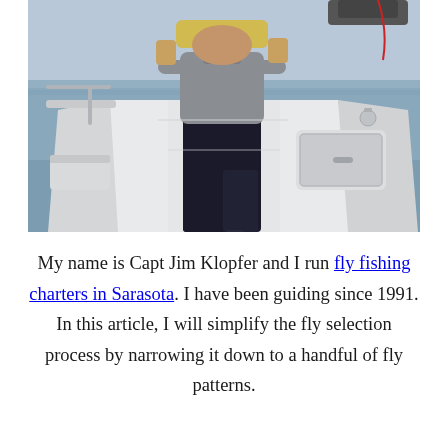[Figure (photo): A person standing on the bow of a white fishing boat on water, wearing a gray t-shirt and black pants, holding something up (head cropped out of frame). The boat has white fiberglass surfaces, a storage hatch, and various fishing equipment visible.]
My name is Capt Jim Klopfer and I run fly fishing charters in Sarasota. I have been guiding since 1991. In this article, I will simplify the fly selection process by narrowing it down to a handful of fly patterns.